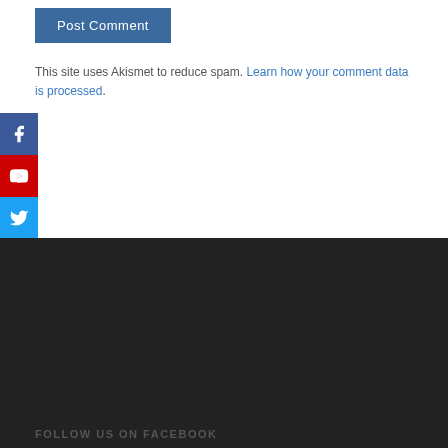Post Comment
This site uses Akismet to reduce spam. Learn how your comment data is processed.
[Figure (illustration): Social media sidebar icons: Facebook (blue), YouTube (red), Twitter (cyan), Email (dark gray)]
FOLLOW US ON FACEBOOK